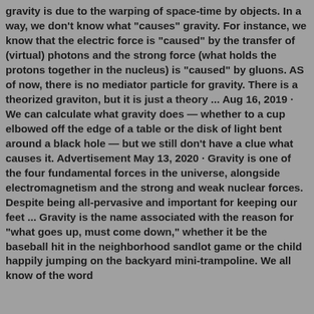gravity is due to the warping of space-time by objects. In a way, we don't know what "causes" gravity. For instance, we know that the electric force is "caused" by the transfer of (virtual) photons and the strong force (what holds the protons together in the nucleus) is "caused" by gluons. AS of now, there is no mediator particle for gravity. There is a theorized graviton, but it is just a theory ... Aug 16, 2019 · We can calculate what gravity does — whether to a cup elbowed off the edge of a table or the disk of light bent around a black hole — but we still don't have a clue what causes it. Advertisement May 13, 2020 · Gravity is one of the four fundamental forces in the universe, alongside electromagnetism and the strong and weak nuclear forces. Despite being all-pervasive and important for keeping our feet ... Gravity is the name associated with the reason for "what goes up, must come down," whether it be the baseball hit in the neighborhood sandlot game or the child happily jumping on the backyard mini-trampoline. We all know of the word